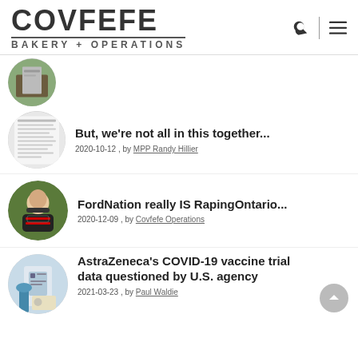COVFEFE BAKERY + OPERATIONS
[Figure (photo): Circular thumbnail image of a building/tree]
[Figure (photo): Circular thumbnail image of a document with text]
But, we're not all in this together...
2020-10-12 , by MPP Randy Hillier
[Figure (photo): Circular thumbnail of a woman wearing a black mask that says OBEY and a black t-shirt that says FORD NATION RAPING ONTARIO]
FordNation really IS RapingOntario...
2020-12-09 , by Covfefe Operations
[Figure (photo): Circular thumbnail of a close-up of a COVID-19 vaccine vial being handled with blue gloves]
AstraZeneca's COVID-19 vaccine trial data questioned by U.S. agency
2021-03-23 , by Paul Waldie